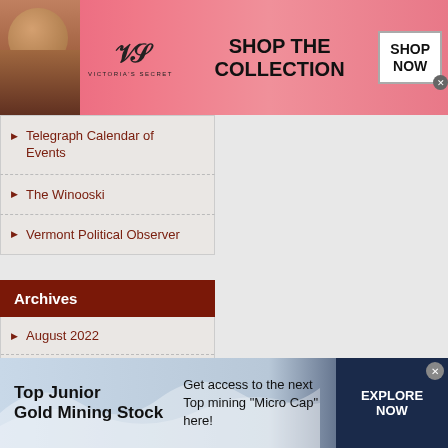[Figure (screenshot): Victoria's Secret advertisement banner with pink background, model photo, VS logo, 'SHOP THE COLLECTION' text, and 'SHOP NOW' button]
Telegraph Calendar of Events
The Winooski
Vermont Political Observer
Archives
August 2022
July 2022
June 2022
May 2022
[Figure (screenshot): Top Junior Gold Mining Stock advertisement banner with light blue background and dark navy right section with 'EXPLORE NOW' button]